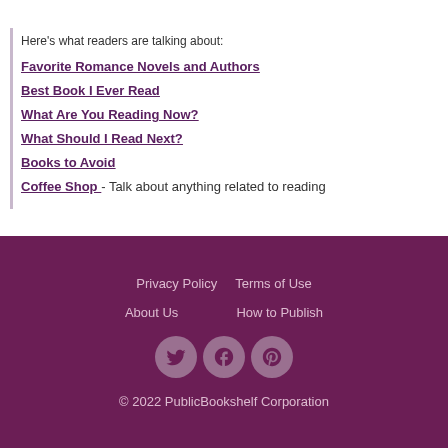Here's what readers are talking about:
Favorite Romance Novels and Authors
Best Book I Ever Read
What Are You Reading Now?
What Should I Read Next?
Books to Avoid
Coffee Shop - Talk about anything related to reading
Privacy Policy   Terms of Use   About Us   How to Publish   © 2022 PublicBookshelf Corporation